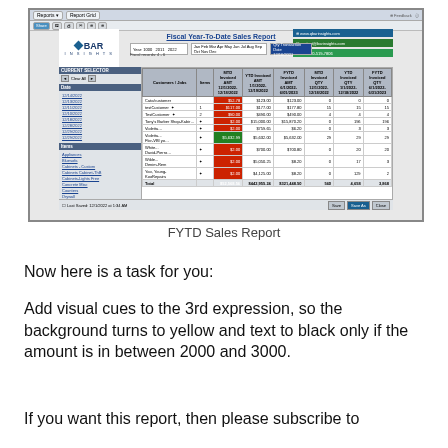[Figure (screenshot): Screenshot of QBar Insights Fiscal Year-To-Date Sales Report showing a data table with customer/job entries, HTD and FYTD invoiced amounts and quantities, with red and green color-coded cells. Contact info panel visible top right.]
FYTD Sales Report
Now here is a task for you:
Add visual cues to the 3rd expression, so the background turns to yellow and text to black only if the amount is in between 2000 and 3000.
If you want this report, then please subscribe to